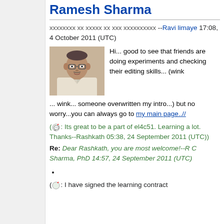Ramesh Sharma
xxxxxxxx xx xxxxx xx xxx xxxxxxxxxx --Ravi limaye 17:08, 4 October 2011 (UTC)
[Figure (photo): Headshot photo of a middle-aged man wearing glasses and a white shirt]
Hi... good to see that friends are doing experiments and checking their editing skills... (wink ... wink... someone overwritten my intro...) but no worry...you can always go to my main page..//
(🐺: Its great to be a part of el4c51. Learning a lot. Thanks--Rashkath 05:38, 24 September 2011 (UTC))
Re: Dear Rashkath, you are most welcome!--R C Sharma, PhD 14:57, 24 September 2011 (UTC)
(🐺: I have signed the learning contract